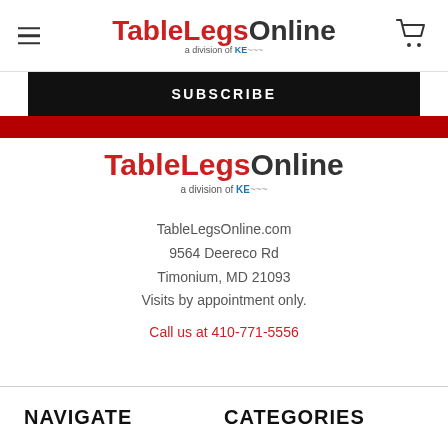TableLegsOnline — a division of KE (logo)
SUBSCRIBE
[Figure (logo): TableLegsOnline logo — 'TableLegs' in red bold, 'Online' in dark bold, 'a division of KE' subtitle below]
TableLegsOnline.com
9564 Deereco Rd
Timonium, MD 21093
Visits by appointment only.
Call us at 410-771-5556
NAVIGATE
CATEGORIES